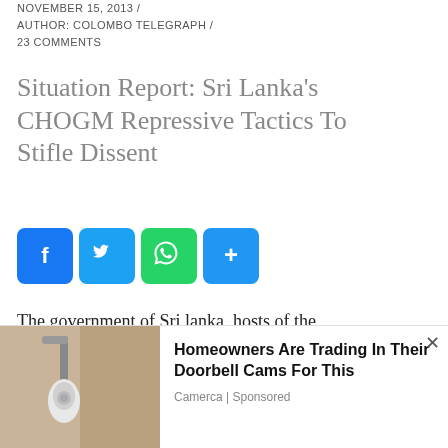NOVEMBER 15, 2013 / AUTHOR: COLOMBO TELEGRAPH / 23 COMMENTS
Situation Report: Sri Lanka’s CHOGM Repressive Tactics To Stifle Dissent
[Figure (other): Social media share buttons: Facebook, Twitter, WhatsApp, Share]
The government of Sri lanka, hosts of the Commonwealth Heads of Government Meeting that will take place tomorrow has engaged in an extraordinary string of repressive tactics to stifle dissent and the
[Figure (other): Advertisement overlay: Homeowners Are Trading In Their Doorbell Cams For This - Camerca | Sponsored, with photo of a wall-mounted camera/light fixture]